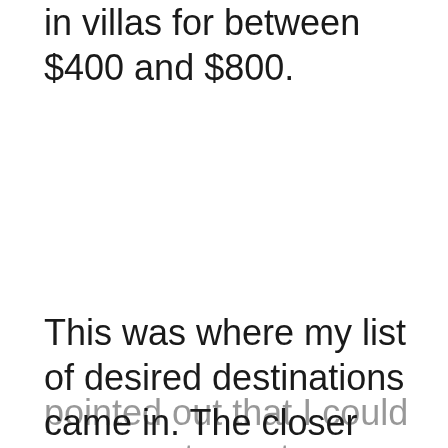multiple examples showed from long stays in villas for between $400 and $800.
This was where my list of desired destinations came in. The closer repeatedly pointed out that I could access stays at resorts in my dream destinations for pennies